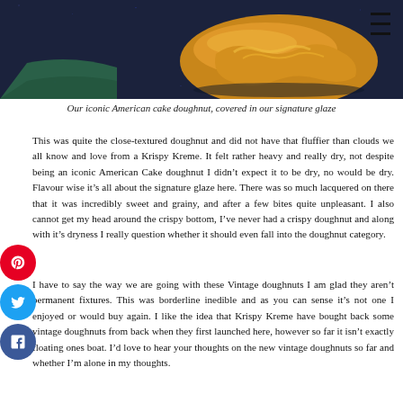[Figure (photo): Close-up photo of a glazed American cake doughnut on a dark background with a green surface visible. The doughnut has a shiny golden glaze. A hamburger menu icon (three horizontal lines) is visible in the top right corner.]
Our iconic American cake doughnut, covered in our signature glaze
This was quite the close-textured doughnut and did not have that fluffier than clouds we all know and love from a Krispy Kreme. It felt rather heavy and really dry, not despite being an iconic American Cake doughnut I didn't expect it to be dry, no would be dry. Flavour wise it's all about the signature glaze here. There was so much lacquered on there that it was incredibly sweet and grainy, and after a few bites quite unpleasant. I also cannot get my head around the crispy bottom, I've never had a crispy doughnut and along with it's dryness I really question whether it should even fall into the doughnut category.
I have to say the way we are going with these Vintage doughnuts I am glad they aren't permanent fixtures. This was borderline inedible and as you can sense it's not one I enjoyed or would buy again. I like the idea that Krispy Kreme have bought back some vintage doughnuts from back when they first launched here, however so far it isn't exactly floating ones boat. I'd love to hear your thoughts on the new vintage doughnuts so far and whether I'm alone in my thoughts.